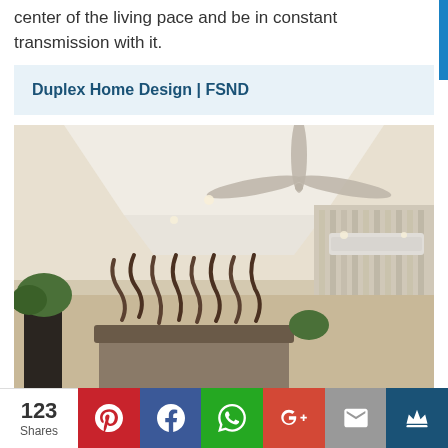center of the living pace and be in constant transmission with it.
Duplex Home Design | FSND
[Figure (photo): Interior photo of a modern living room with decorative ceiling with recessed lighting and fan, abstract wall art sculptures, and sheer curtains near a window with an air conditioning unit.]
123 Shares | Pinterest | Facebook | WhatsApp | Google+ | Email | Crown